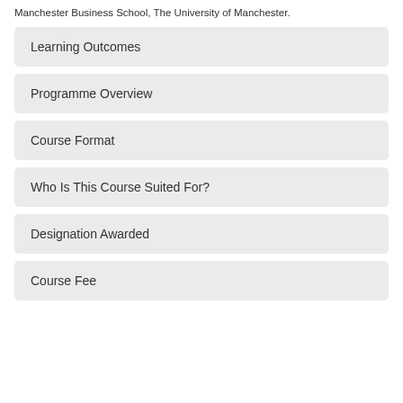Manchester Business School, The University of Manchester.
Learning Outcomes
Programme Overview
Course Format
Who Is This Course Suited For?
Designation Awarded
Course Fee